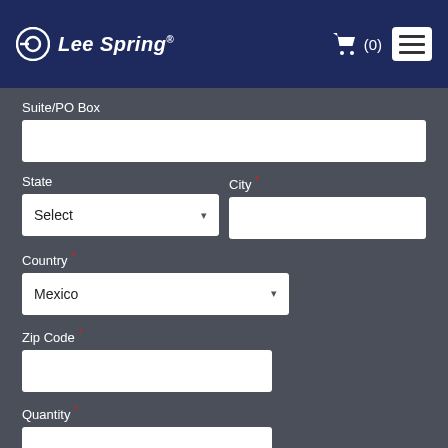Lee Spring
Suite/PO Box
State
City *
Country *
Zip Code *
Quantity *